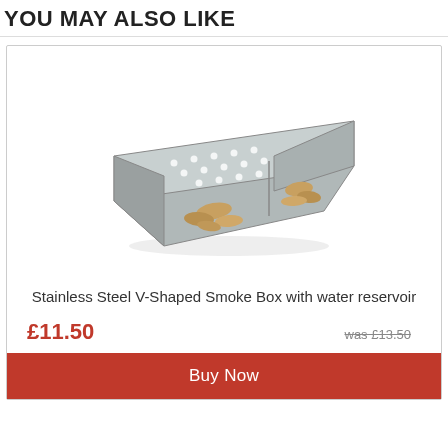YOU MAY ALSO LIKE
[Figure (photo): Stainless Steel V-Shaped Smoke Box with water reservoir, shown with wood chips inside compartments and a perforated lid. A red SALE badge is in the top-left corner of the product card.]
Stainless Steel V-Shaped Smoke Box with water reservoir
£11.50
was £13.50
Buy Now